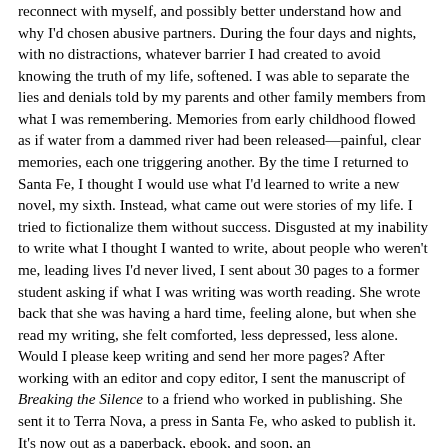reconnect with myself, and possibly better understand how and why I'd chosen abusive partners. During the four days and nights, with no distractions, whatever barrier I had created to avoid knowing the truth of my life, softened. I was able to separate the lies and denials told by my parents and other family members from what I was remembering. Memories from early childhood flowed as if water from a dammed river had been released—painful, clear memories, each one triggering another. By the time I returned to Santa Fe, I thought I would use what I'd learned to write a new novel, my sixth. Instead, what came out were stories of my life. I tried to fictionalize them without success. Disgusted at my inability to write what I thought I wanted to write, about people who weren't me, leading lives I'd never lived, I sent about 30 pages to a former student asking if what I was writing was worth reading. She wrote back that she was having a hard time, feeling alone, but when she read my writing, she felt comforted, less depressed, less alone. Would I please keep writing and send her more pages? After working with an editor and copy editor, I sent the manuscript of Breaking the Silence to a friend who worked in publishing. She sent it to Terra Nova, a press in Santa Fe, who asked to publish it. It's now out as a paperback, ebook, and soon, an